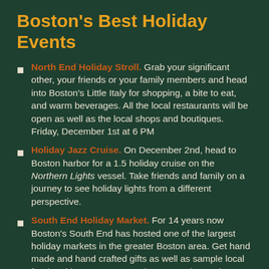Boston's Best Holiday Events
North End Holiday Stroll. Grab your significant other, your friends or your family members and head into Boston's Little Italy for shopping, a bite to eat, and warm beverages. All the local restaurants will be open as well as the local shops and boutiques. Friday, December 1st at 6 PM
Holiday Jazz Cruise. On December 2nd, head to Boston harbor for a 1.5 holiday cruise on the Northern Lights vessel. Take friends and family on a journey to see holiday lights from a different perspective.
South End Holiday Market. For 14 years now Boston's South End has hosted one of the largest holiday markets in the greater Boston area. Get hand made and hand crafted gifts as well as sample local food and beverages. Saturday, November 25th at 11 AM at 41 Berkley Street.